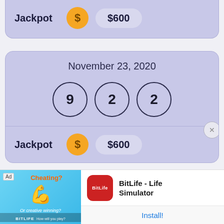[Figure (screenshot): Top partial card showing Jackpot row with $600 amount and gold coin dollar sign icon, lavender background]
[Figure (screenshot): Main lottery card for November 23, 2020 showing three lottery balls with numbers 9, 2, 2 and Jackpot of $600]
[Figure (screenshot): Ad banner for BitLife - Life Simulator app with install button]